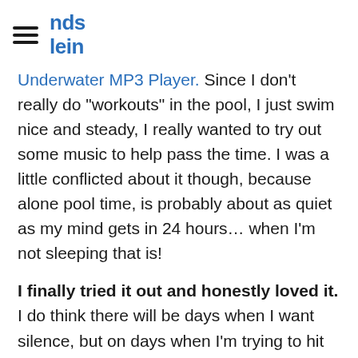nds / lein (logo/site name, partial)
Underwater MP3 Player. Since I don't really do "workouts" in the pool, I just swim nice and steady, I really wanted to try out some music to help pass the time. I was a little conflicted about it though, because alone pool time, is probably about as quiet as my mind gets in 24 hours… when I'm not sleeping that is!
I finally tried it out and honestly loved it. I do think there will be days when I want silence, but on days when I'm trying to hit 2,000 yards or more and the task seems long and daunting it is a great passer of time/laps. You download music or podcasts